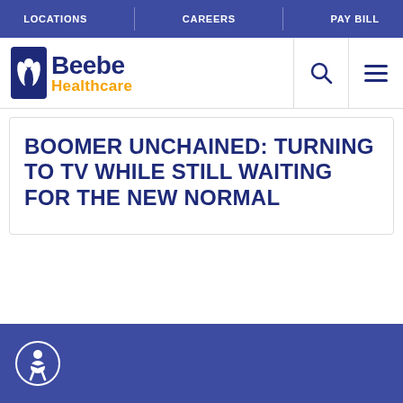LOCATIONS | CAREERS | PAY BILL
[Figure (logo): Beebe Healthcare logo with stylized hands icon, 'Beebe' in dark blue bold text and 'Healthcare' in orange/gold text]
BOOMER UNCHAINED: TURNING TO TV WHILE STILL WAITING FOR THE NEW NORMAL
Accessibility icon in footer bar